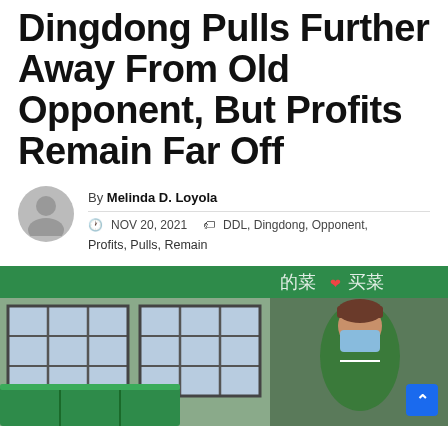Dingdong Pulls Further Away From Old Opponent, But Profits Remain Far Off
By Melinda D. Loyola
NOV 20, 2021   DDL, Dingdong, Opponent, Profits, Pulls, Remain
[Figure (photo): A delivery worker in a green uniform and face mask stands at what appears to be a Dingdong (grocery delivery) location, with green delivery boxes visible in the foreground and a green sign with Chinese characters in the background.]